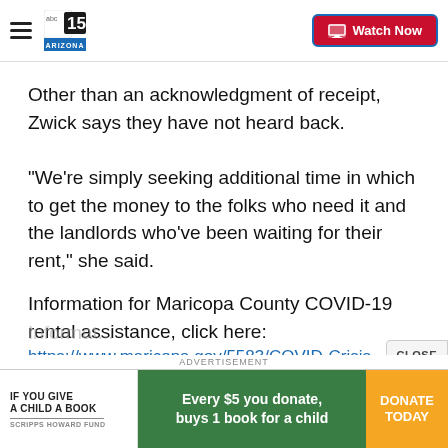abc15 ARIZONA — Watch Now
Other than an acknowledgment of receipt, Zwick says they have not heard back.
"We're simply seeking additional time in which to get the money to the folks who need it and the landlords who've been waiting for their rent," she said.
Information for Maricopa County COVID-19 rental assistance, click here:
https://www.maricopa.gov/5583/COVID-Crisis-
[Figure (screenshot): Advertisement banner: IF YOU GIVE A CHILD A BOOK — SCRIPPS HOWARD FUND. Every $5 you donate, buys 1 book for a child. DONATE TODAY button.]